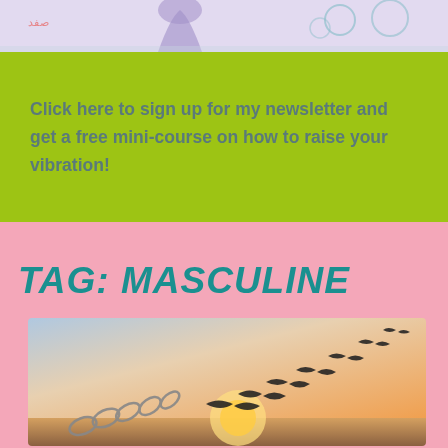[Figure (photo): Partial photo at top showing a person and decorative elements on a light purple/white background]
Click here to sign up for my newsletter and get a free mini-course on how to raise your vibration!
TAG: MASCULINE
[Figure (photo): Photo of birds (seagulls) in flight transforming from chain links at sunset, warm orange and golden sky background]